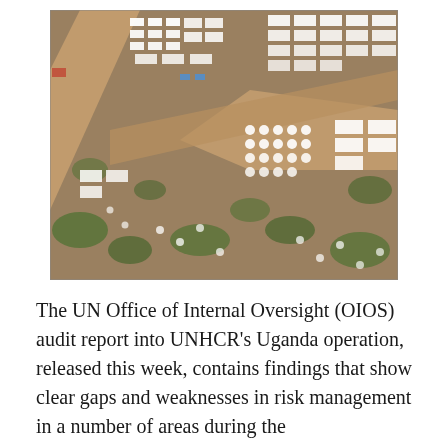[Figure (photo): Aerial photograph of a refugee camp in Uganda, showing rows of white tents and temporary structures arranged along dirt roads, surrounded by sparse vegetation and brown earth.]
The UN Office of Internal Oversight (OIOS) audit report into UNHCR's Uganda operation, released this week, contains findings that show clear gaps and weaknesses in risk management in a number of areas during the